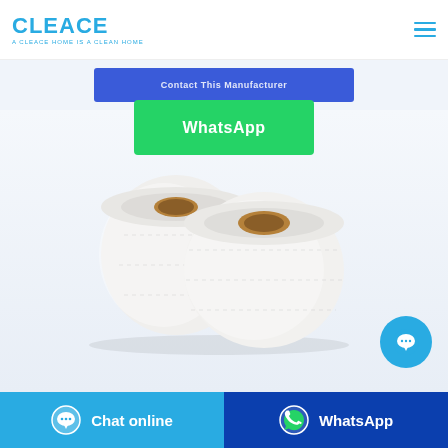[Figure (logo): CLEACE logo with blue text and tagline 'A CLEACE HOME IS A CLEAN HOME']
Contact This Manufacturer
WhatsApp
[Figure (photo): Two white toilet paper rolls on a white background]
Chat online
WhatsApp